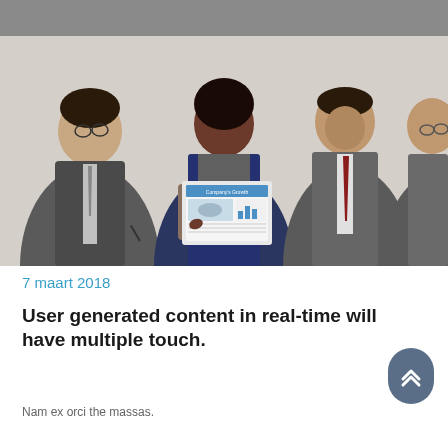[Figure (photo): Four business professionals sitting together, with a woman in the center holding a tablet showing a chart labeled 'Company's Growth'. The others look on attentively.]
7 maart 2018
User generated content in real-time will have multiple touch.
Nam ex orci the massas.